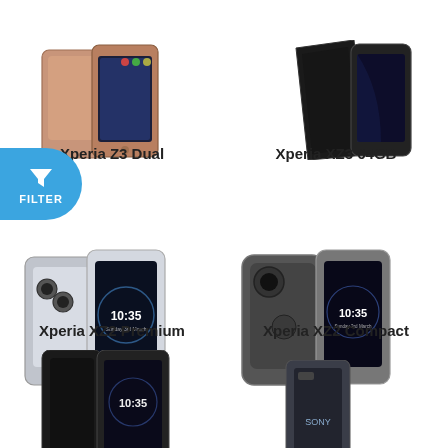[Figure (photo): Sony Xperia Z3 Dual smartphone - gold/bronze color shown from front and back]
Xperia Z3 Dual
[Figure (photo): Sony Xperia XZ3 64GB smartphone - black color shown from angle]
Xperia XZ3 64GB
[Figure (photo): Sony Xperia XZ2 Premium smartphone - silver showing dual camera and front screen]
Xperia XZ2 Premium
[Figure (photo): Sony Xperia XZ2 Compact smartphone - in dark grey case showing front and back]
Xperia XZ2 Compact
[Figure (photo): Sony Xperia smartphone - black, partially visible at bottom]
[Figure (photo): Sony Xperia smartphone - dark grey, partially visible at bottom]